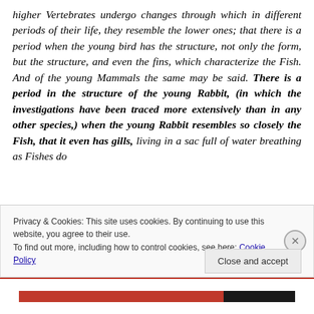higher Vertebrates undergo changes through which in different periods of their life, they resemble the lower ones; that there is a period when the young bird has the structure, not only the form, but the structure, and even the fins, which characterize the Fish. And of the young Mammals the same may be said. There is a period in the structure of the young Rabbit, (in which the investigations have been traced more extensively than in any other species,) when the young Rabbit resembles so closely the Fish, that it even has gills, living in a sac full of water breathing as Fishes do
Privacy & Cookies: This site uses cookies. By continuing to use this website, you agree to their use.
To find out more, including how to control cookies, see here: Cookie Policy
Close and accept